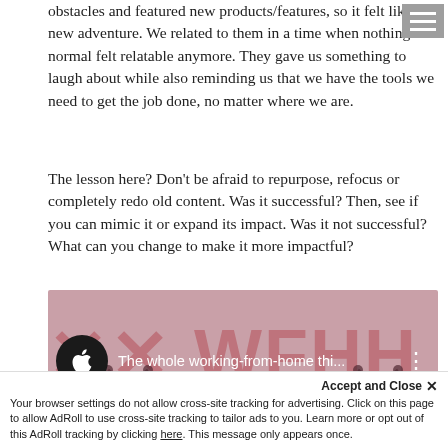obstacles and featured new products/features, so it felt like a new adventure. We related to them in a time when nothing normal felt relatable anymore. They gave us something to laugh about while also reminding us that we have the tools we need to get the job done, no matter where we are.
The lesson here? Don't be afraid to repurpose, refocus or completely redo old content. Was it successful? Then, see if you can mimic it or expand its impact. Was it not successful? What can you change to make it more impactful?
[Figure (screenshot): Screenshot of a video thumbnail showing 'The whole working-from-home thi...' with an Apple logo icon on the left and drone imagery with WFH text in the background.]
Accept and Close ✕
Your browser settings do not allow cross-site tracking for advertising. Click on this page to allow AdRoll to use cross-site tracking to tailor ads to you. Learn more or opt out of this AdRoll tracking by clicking here. This message only appears once.